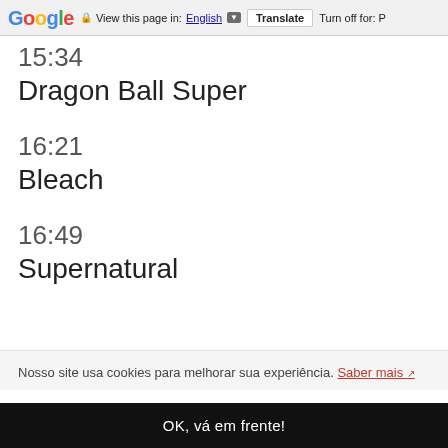Google | View this page in: English ▼ | Translate | Turn off for: P
15:34
Dragon Ball Super
16:21
Bleach
16:49
Supernatural
Nosso site usa cookies para melhorar sua experiência. Saber mais ↗
OK, vá em frente!